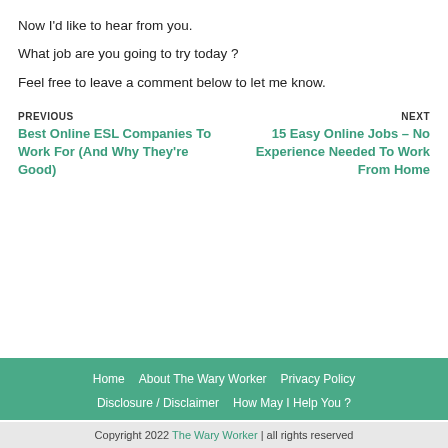Now I’d like to hear from you.
What job are you going to try today ?
Feel free to leave a comment below to let me know.
PREVIOUS
Best Online ESL Companies To Work For (And Why They’re Good)
NEXT
15 Easy Online Jobs – No Experience Needed To Work From Home
Home | About The Wary Worker | Privacy Policy | Disclosure / Disclaimer | How May I Help You ?
Copyright 2022 The Wary Worker | all rights reserved